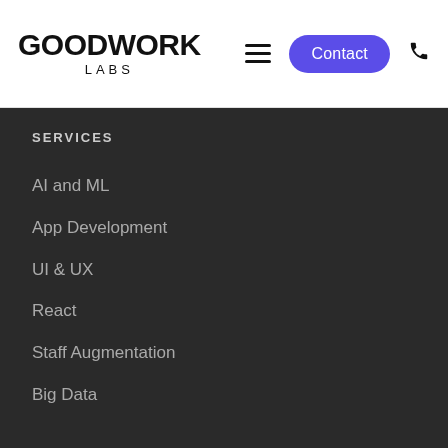GOODWORK LABS
SERVICES
AI and ML
App Development
UI & UX
React
Staff Augmentation
Big Data
INDUSTRIES
E-Commerce
Retail